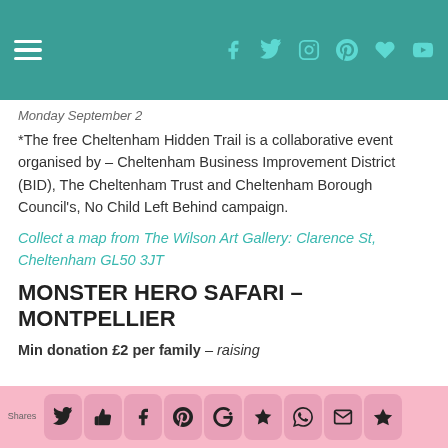Navigation bar with hamburger menu and social icons
Monday September 2
*The free Cheltenham Hidden Trail is a collaborative event organised by – Cheltenham Business Improvement District (BID), The Cheltenham Trust and Cheltenham Borough Council's, No Child Left Behind campaign.
Collect a map from The Wilson Art Gallery: Clarence St, Cheltenham GL50 3JT
MONSTER HERO SAFARI – MONTPELLIER
Min donation £2 per family – raising
Shares — social share buttons: Twitter, Like, Facebook, Pinterest, Google+, Bookmark, WhatsApp, Email, Crown